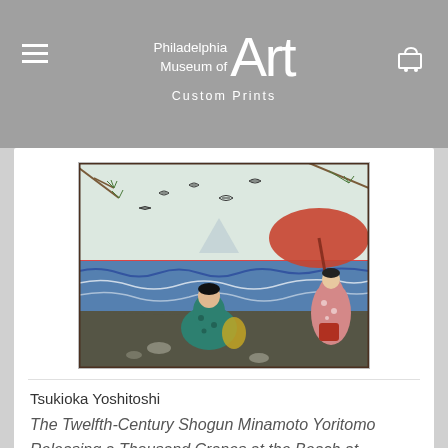Philadelphia Museum of Art — Custom Prints
[Figure (illustration): Japanese woodblock print showing figures in traditional dress on a beach with ocean waves and cranes in the sky. A large red parasol is visible at right. Two figures in kimono sit in the foreground.]
Tsukioka Yoshitoshi
The Twelfth-Century Shogun Minamoto Yoritomo Releasing a Thousand Cranes at the Beach at Yuigahama, 1863